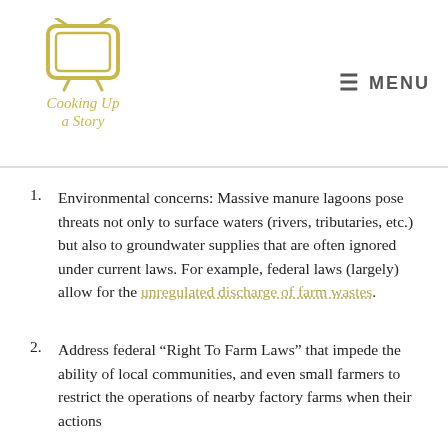Cooking Up a Story — MENU
Environmental concerns: Massive manure lagoons pose threats not only to surface waters (rivers, tributaries, etc.) but also to groundwater supplies that are often ignored under current laws. For example, federal laws (largely) allow for the unregulated discharge of farm wastes.
Address federal “Right To Farm Laws” that impede the ability of local communities, and even small farmers to restrict the operations of nearby factory farms when their actions